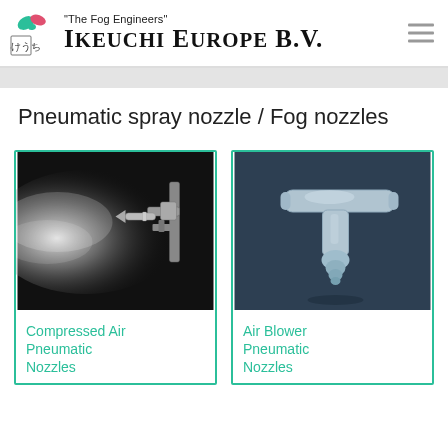"The Fog Engineers" IKEUCHI EUROPE B.V.
Pneumatic spray nozzle / Fog nozzles
[Figure (photo): Photo of a pneumatic spray nozzle in operation, showing white fog/mist spray on a dark background with the nozzle hardware visible]
Compressed Air Pneumatic Nozzles
[Figure (photo): 3D render or photo of a light blue/grey air blower pneumatic nozzle with T-shape fitting on a dark blue background]
Air Blower Pneumatic Nozzles